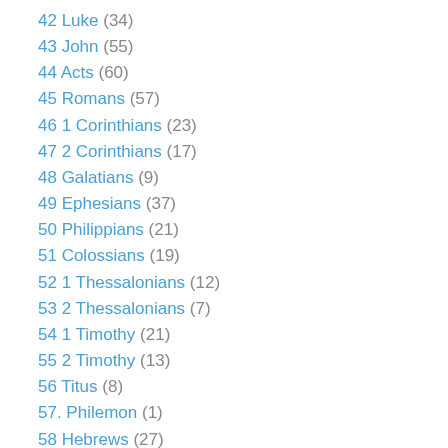42 Luke (34)
43 John (55)
44 Acts (60)
45 Romans (57)
46 1 Corinthians (23)
47 2 Corinthians (17)
48 Galatians (9)
49 Ephesians (37)
50 Philippians (21)
51 Colossians (19)
52 1 Thessalonians (12)
53 2 Thessalonians (7)
54 1 Timothy (21)
55 2 Timothy (13)
56 Titus (8)
57. Philemon (1)
58 Hebrews (27)
59 James (22)
60 1 Peter (22)
61 2 Peter (5)